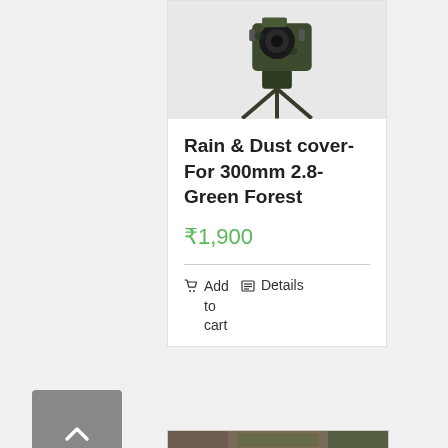[Figure (photo): Camera or optical device on a tripod, camouflage/green forest coloring, product photo on white background]
Rain & Dust cover- For 300mm 2.8- Green Forest
₹1,900
Add to cart   Details
[Figure (photo): Partially visible product image at bottom of page, camouflage pattern]